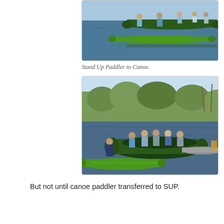[Figure (photo): People in canoes and on a stand-up paddleboard on a river, viewed from the side. Green canoes with several people visible.]
Stand Up Paddler to Canoe.
[Figure (photo): Group of people sitting in a large dark green canoe on a calm river surrounded by trees. A green stand-up paddleboard is in the foreground with a person on it. Another kayak is visible in the background.]
But not until canoe paddler transferred to SUP.